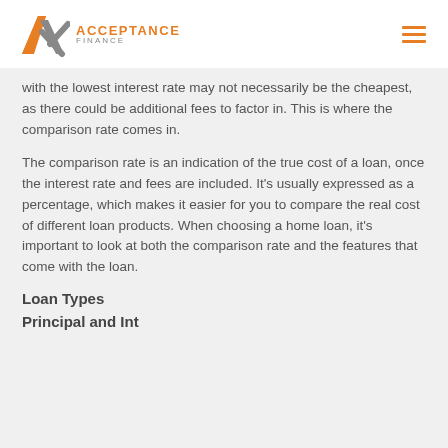Acceptance Finance
with the lowest interest rate may not necessarily be the cheapest, as there could be additional fees to factor in. This is where the comparison rate comes in.
The comparison rate is an indication of the true cost of a loan, once the interest rate and fees are included. It's usually expressed as a percentage, which makes it easier for you to compare the real cost of different loan products. When choosing a home loan, it's important to look at both the comparison rate and the features that come with the loan.
Loan Types
Principal and Int...